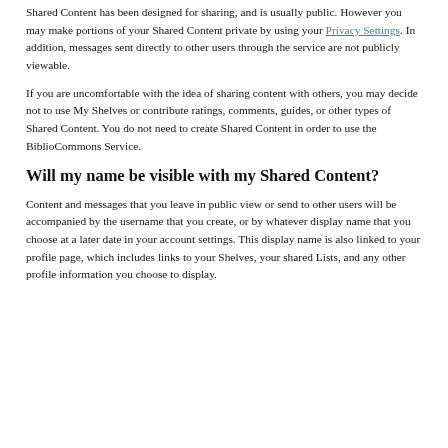Shared Content has been designed for sharing, and is usually public. However you may make portions of your Shared Content private by using your Privacy Settings. In addition, messages sent directly to other users through the service are not publicly viewable.
If you are uncomfortable with the idea of sharing content with others, you may decide not to use My Shelves or contribute ratings, comments, guides, or other types of Shared Content. You do not need to create Shared Content in order to use the BiblioCommons Service.
Will my name be visible with my Shared Content?
Content and messages that you leave in public view or send to other users will be accompanied by the username that you create, or by whatever display name that you choose at a later date in your account settings. This display name is also linked to your profile page, which includes links to your Shelves, your shared Lists, and any other profile information you choose to display.